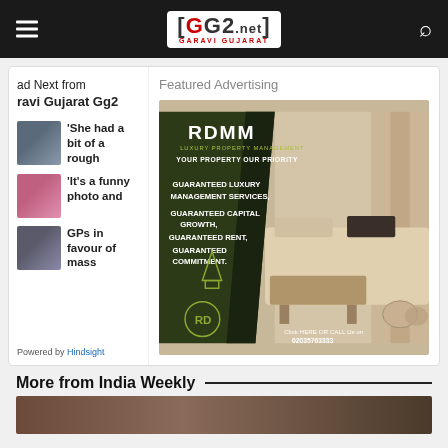GG2.net GARAVI GUJARAT
Read Next from Garavi Gujarat Gg2
'She had a bit of a rough
'It's a funny photo and
GPs in favour of mass
Powered by Hindsight
Featured Advertising
[Figure (photo): RDMM Luxury Property Management advertisement. Text: 'YOUR PROPERTY OUR PRIORITY. GUARANTEED LUXURY MANAGEMENT SERVICES, GUARANTEED CAPITAL GROWTH, GUARANTEED RENT, GUARANTEED COMMITMENT. Click HERE OR CALL Us on 02035763333'. Shows luxury living room interior.]
More from India Weekly